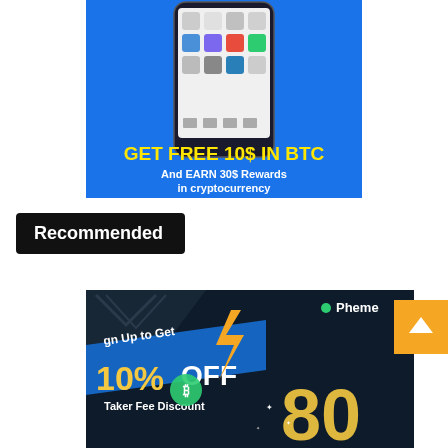[Figure (infographic): Blue background advertisement banner showing a smartphone with crypto app icons. Bold yellow text reads 'GET FREE 10$ IN BTC' and white text below reads 'And EARN 30$ Rewards in cryptocurrency'.]
Recommended
[Figure (infographic): Dark navy background advertisement banner. Left side shows 'Sign Up to Get' and '10% OFF' with lightning bolt graphic and 'Taker Fee Discount'. Right side partially visible shows '80' large text. Top right shows 'Pheme' logo/brand. Large gold/yellow coins visible.]